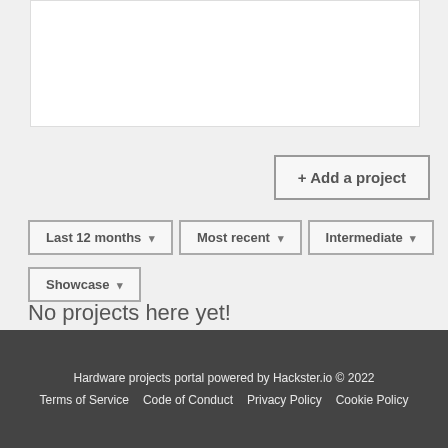[Figure (other): White content card/box at top of page]
+ Add a project
Last 12 months ▾
Most recent ▾
Intermediate ▾
Showcase ▾
No projects here yet!
Hardware projects portal powered by Hackster.io © 2022
Terms of Service   Code of Conduct   Privacy Policy   Cookie Policy